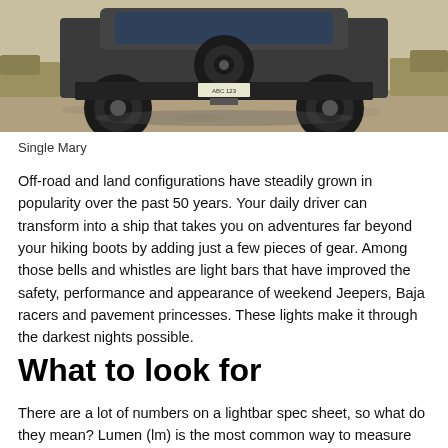[Figure (photo): Rear view of a lifted off-road truck/Jeep on a gravel road with large off-road tires, photographed from behind at low angle.]
Single Mary
Off-road and land configurations have steadily grown in popularity over the past 50 years. Your daily driver can transform into a ship that takes you on adventures far beyond your hiking boots by adding just a few pieces of gear. Among those bells and whistles are light bars that have improved the safety, performance and appearance of weekend Jeepers, Baja racers and pavement princesses. These lights make it through the darkest nights possible.
What to look for
There are a lot of numbers on a lightbar spec sheet, so what do they mean? Lumen (lm) is the most common way to measure brightness;